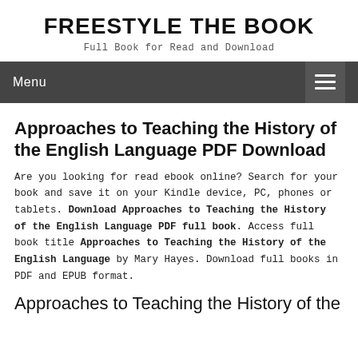FREESTYLE THE BOOK
Full Book for Read and Download
Menu
Approaches to Teaching the History of the English Language PDF Download
Are you looking for read ebook online? Search for your book and save it on your Kindle device, PC, phones or tablets. Download Approaches to Teaching the History of the English Language PDF full book. Access full book title Approaches to Teaching the History of the English Language by Mary Hayes. Download full books in PDF and EPUB format.
Approaches to Teaching the History of the